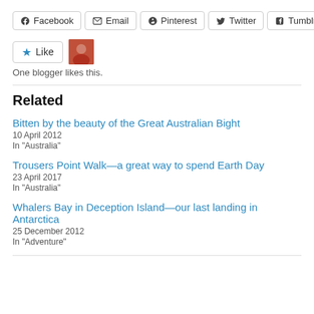[Figure (other): Social share buttons: Facebook, Email, Pinterest, Twitter, Tumblr]
[Figure (other): Like button with star icon and user avatar thumbnail]
One blogger likes this.
Related
Bitten by the beauty of the Great Australian Bight
10 April 2012
In "Australia"
Trousers Point Walk—a great way to spend Earth Day
23 April 2017
In "Australia"
Whalers Bay in Deception Island—our last landing in Antarctica
25 December 2012
In "Adventure"